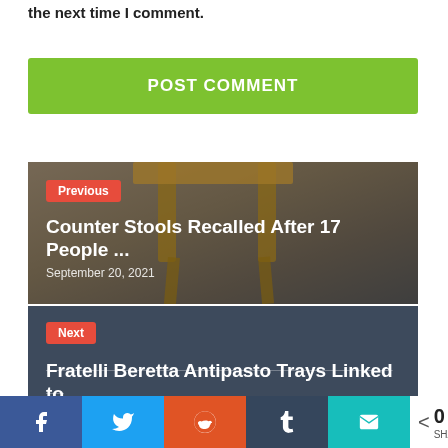the next time I comment.
POST COMMENT
[Figure (photo): Previous post card with image of wooden counter stools]
Previous
Counter Stools Recalled After 17 People ...
September 20, 2021
[Figure (other): Next post card with dark background]
Next
Fratelli Beretta Antipasto Trays Linked to
< 0 SHARES